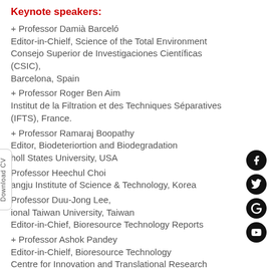Keynote speakers:
+ Professor Damià Barceló
Editor-in-Chielf, Science of the Total Environment
Consejo Superior de Investigaciones Científicas (CSIC), Barcelona, Spain
+ Professor Roger Ben Aim
Institut de la Filtration et des Techniques Séparatives (IFTS), France.
+ Professor Ramaraj Boopathy
Editor, Biodeteriortion and Biodegradation
holl States University, USA
+ Professor Heechul Choi
angju Institute of Science & Technology, Korea
+ Professor Duu-Jong Lee,
ional Taiwan University, Taiwan
Editor-in-Chief, Bioresource Technology Reports
+ Professor Ashok Pandey
Editor-in-Chielf, Bioresource Technology
Centre for Innovation and Translational Research
CSIR-Indian Institute of Toxicology Research
+ Professor Bart Van der Bruggen